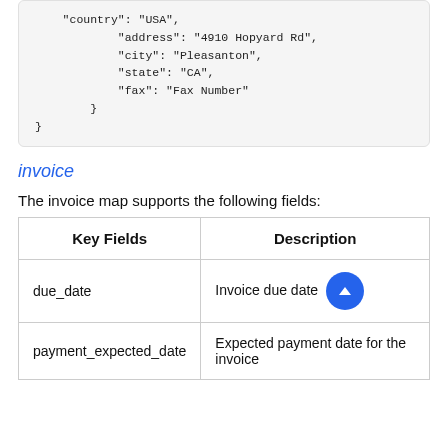"country": "USA",
            "address": "4910 Hopyard Rd",
            "city": "Pleasanton",
            "state": "CA",
            "fax": "Fax Number"
        }
}
invoice
The invoice map supports the following fields:
| Key Fields | Description |
| --- | --- |
| due_date | Invoice due date |
| payment_expected_date | Expected payment date for the invoice |